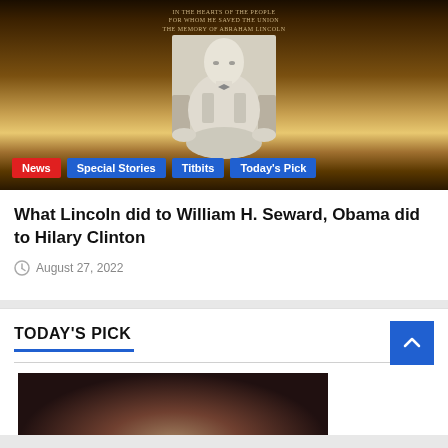[Figure (photo): Lincoln Memorial statue at night with golden lighting and inscription above, with category tags News, Special Stories, Titbits, Today's Pick overlaid at bottom]
What Lincoln did to William H. Seward, Obama did to Hilary Clinton
August 27, 2022
TODAY'S PICK
[Figure (photo): Partial thumbnail image at bottom of page, dark colored photo]